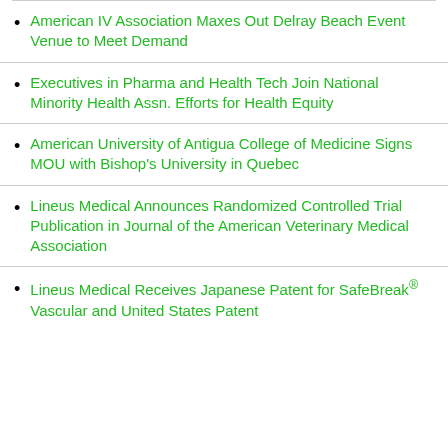American IV Association Maxes Out Delray Beach Event Venue to Meet Demand
Executives in Pharma and Health Tech Join National Minority Health Assn. Efforts for Health Equity
American University of Antigua College of Medicine Signs MOU with Bishop’s University in Quebec
Lineus Medical Announces Randomized Controlled Trial Publication in Journal of the American Veterinary Medical Association
Lineus Medical Receives Japanese Patent for SafeBreak® Vascular and United States Patent